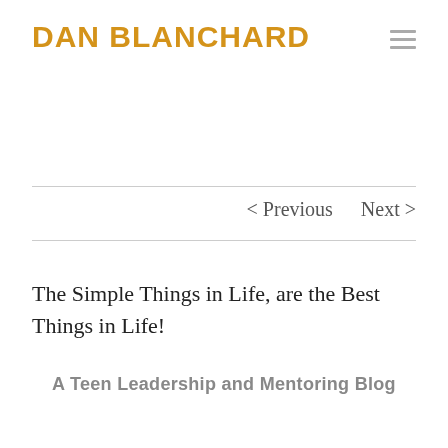DAN BLANCHARD
< Previous   Next >
The Simple Things in Life, are the Best Things in Life!
A Teen Leadership and Mentoring Blog